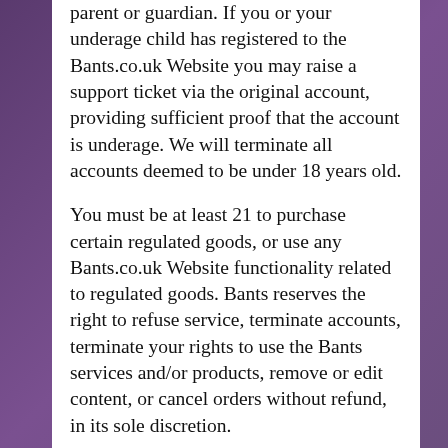parent or guardian. If you or your underage child has registered to the Bants.co.uk Website you may raise a support ticket via the original account, providing sufficient proof that the account is underage. We will terminate all accounts deemed to be under 18 years old.
You must be at least 21 to purchase certain regulated goods, or use any Bants.co.uk Website functionality related to regulated goods. Bants reserves the right to refuse service, terminate accounts, terminate your rights to use the Bants services and/or products, remove or edit content, or cancel orders without refund, in its sole discretion.
Use of Communication Services
Bants.co.uk Website may contain chat areas, groups, forums, communities, personal web pages, calendars, private messaging functionalities, and/or